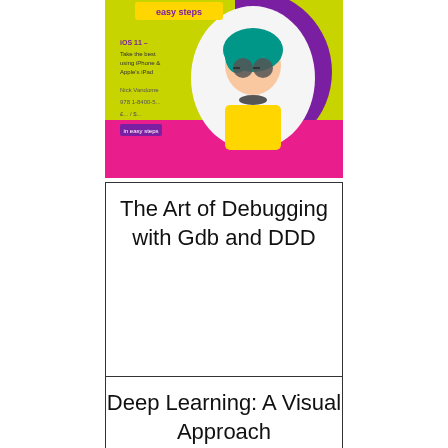[Figure (illustration): Book cover with colorful design showing a stylized woman with teal hair and sunglasses, purple and green geometric shapes, 'easy steps' branding, iOS 11 content listing]
The Art of Debugging with Gdb and DDD
Deep Learning: A Visual Approach